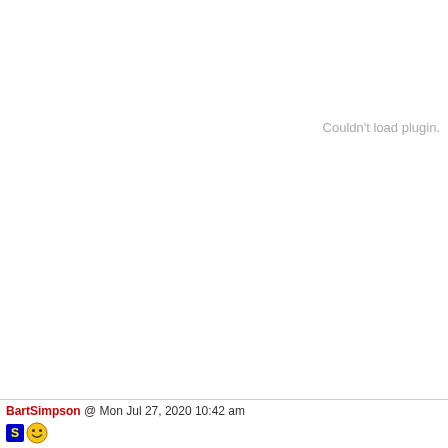Couldn't load plugin.
BartSimpson @ Mon Jul 27, 2020 10:42 am
[Figure (illustration): Two small pixel-art icons: a blue square with yellow 'S' letter and a classic yellow smiley face emoji]